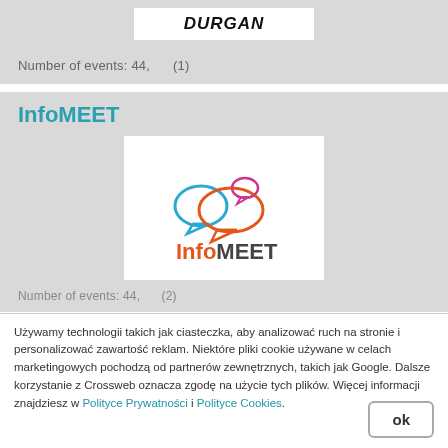[Figure (logo): DurGAN logo text in bold italic uppercase letters on white background]
Number of events: 44,     (1)
InfoMEET
[Figure (logo): InfoMEET logo with speech bubbles in blue, pink/magenta, and orange colors, with 'InfoMEET' text in orange and dark grey]
Number of events: 44,     (2)
Używamy technologii takich jak ciasteczka, aby analizować ruch na stronie i personalizować zawartość reklam. Niektóre pliki cookie używane w celach marketingowych pochodzą od partnerów zewnętrznych, takich jak Google. Dalsze korzystanie z Crossweb oznacza zgodę na użycie tych plików. Więcej informacji znajdziesz w Polityce Prywatności i Polityce Cookies.